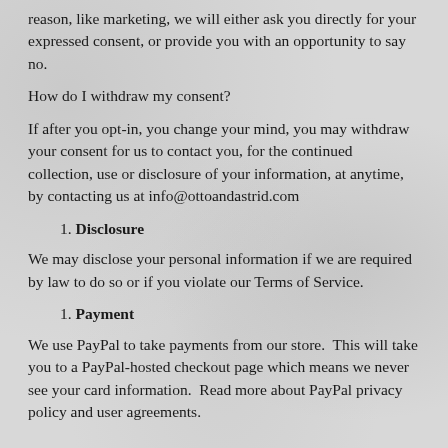reason, like marketing, we will either ask you directly for your expressed consent, or provide you with an opportunity to say no.
How do I withdraw my consent?
If after you opt-in, you change your mind, you may withdraw your consent for us to contact you, for the continued collection, use or disclosure of your information, at anytime, by contacting us at info@ottoandastrid.com
1. Disclosure
We may disclose your personal information if we are required by law to do so or if you violate our Terms of Service.
1. Payment
We use PayPal to take payments from our store.  This will take you to a PayPal-hosted checkout page which means we never see your card information.  Read more about PayPal privacy policy and user agreements.